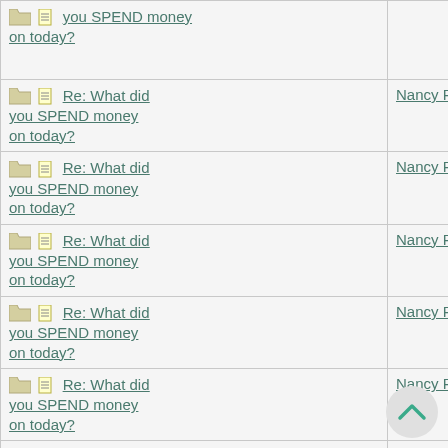| Topic | Author | Date |
| --- | --- | --- |
| Re: What did you SPEND money on today? |  |  |
| Re: What did you SPEND money on today? | Nancy Roussy | 10/11/15 11:00 AM |
| Re: What did you SPEND money on today? | Nancy Roussy | 10/19/15 02:02 PM |
| Re: What did you SPEND money on today? | Nancy Roussy | 10/20/15 03:51 PM |
| Re: What did you SPEND money on today? | Nancy Roussy | 10/22/15 04:32 PM |
| Re: What did you SPEND money on today? | Nancy Roussy | 10/25/15 04:57 PM |
| Re: What did you SPEND money on today? | Nancy Roussy | 10/26/15 08:42 PM |
| Re: What did you SPEND money on today? | Angie | 10/26/15 09:11 PM |